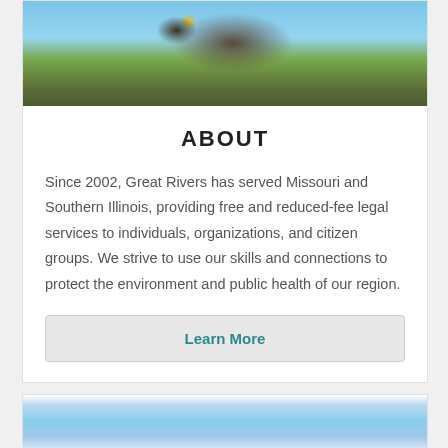[Figure (photo): Close-up photo of a bird (appears to be a hawk or eagle) perched on a branch against a blue sky with foliage in background]
ABOUT
Since 2002, Great Rivers has served Missouri and Southern Illinois, providing free and reduced-fee legal services to individuals, organizations, and citizen groups. We strive to use our skills and connections to protect the environment and public health of our region.
Learn More
[Figure (photo): Partial photo of clouds and blue sky visible at bottom of page]